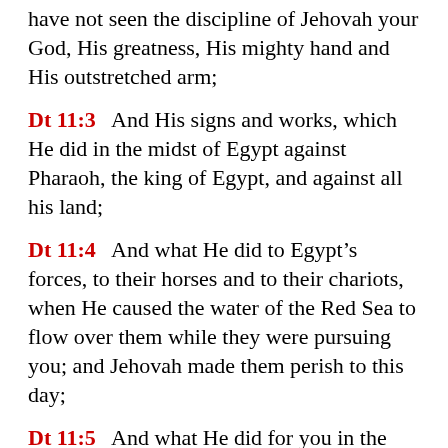have not seen the discipline of Jehovah your God, His greatness, His mighty hand and His outstretched arm;
Dt 11:3   And His signs and works, which He did in the midst of Egypt against Pharaoh, the king of Egypt, and against all his land;
Dt 11:4   And what He did to Egypt’s forces, to their horses and to their chariots, when He caused the water of the Red Sea to flow over them while they were pursuing you; and Jehovah made them perish to this day;
Dt 11:5   And what He did for you in the wilderness until you came to this place;
Dt 11:6   And what He did to Dathan and Abiram, the sons of Eliab, the son of Reuben,